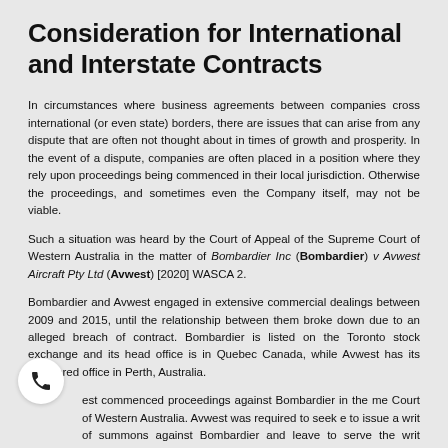Consideration for International and Interstate Contracts
In circumstances where business agreements between companies cross international (or even state) borders, there are issues that can arise from any dispute that are often not thought about in times of growth and prosperity. In the event of a dispute, companies are often placed in a position where they rely upon proceedings being commenced in their local jurisdiction. Otherwise the proceedings, and sometimes even the Company itself, may not be viable.
Such a situation was heard by the Court of Appeal of the Supreme Court of Western Australia in the matter of Bombardier Inc (Bombardier) v Avwest Aircraft Pty Ltd (Avwest) [2020] WASCA 2.
Bombardier and Avwest engaged in extensive commercial dealings between 2009 and 2015, until the relationship between them broke down due to an alleged breach of contract. Bombardier is listed on the Toronto stock exchange and its head office is in Quebec Canada, while Avwest has its registered office in Perth, Australia.
Avwest commenced proceedings against Bombardier in the Supreme Court of Western Australia. Avwest was required to seek leave to issue a writ of summons against Bombardier and leave to serve the writ outside Australia. Bombardier contested the